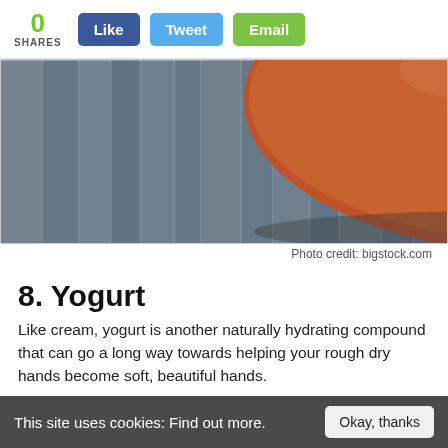0 SHARES  Like  Tweet  Email
[Figure (photo): A brown ceramic bowl on a rough weathered wooden surface, partially cropped at top]
Photo credit: bigstock.com
8. Yogurt
Like cream, yogurt is another naturally hydrating compound that can go a long way towards helping your rough dry hands become soft, beautiful hands.
Apply one heaping tablespoon of plain yogurt on your hands and massage it in for a minute or two. Allow it to stay on your hands for 10 minutes, and then rinse with warm water. Do
This site uses cookies: Find out more.  Okay, thanks